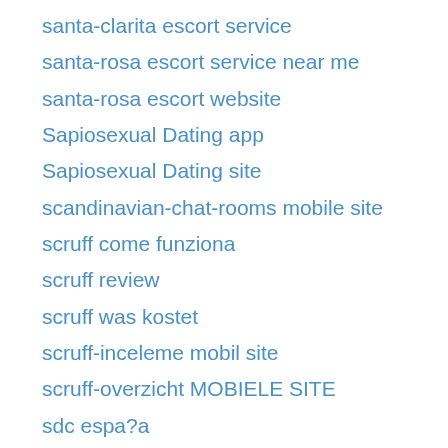santa-clarita escort service
santa-rosa escort service near me
santa-rosa escort website
Sapiosexual Dating app
Sapiosexual Dating site
scandinavian-chat-rooms mobile site
scruff come funziona
scruff review
scruff was kostet
scruff-inceleme mobil site
scruff-overzicht MOBIELE SITE
sdc espa?a
SDC review
SDC visitors
seattle escort service near me